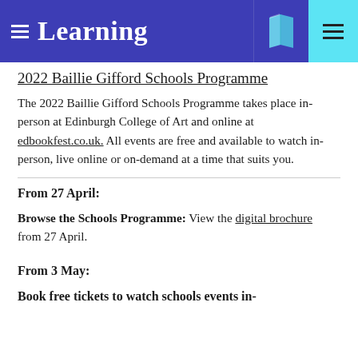Learning
2022 Baillie Gifford Schools Programme
The 2022 Baillie Gifford Schools Programme takes place in-person at Edinburgh College of Art and online at edbookfest.co.uk. All events are free and available to watch in-person, live online or on-demand at a time that suits you.
From 27 April:
Browse the Schools Programme: View the digital brochure from 27 April.
From 3 May:
Book free tickets to watch schools events in-